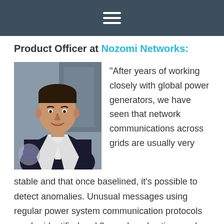☰
Product Officer at Nozomi Networks:
[Figure (photo): Professional headshot of a young man in a dark suit and white shirt, smiling, standing indoors]
“After years of working closely with global power generators, we have seen that network communications across grids are usually very stable and that once baselined, it’s possible to detect anomalies. Unusual messages using regular power system communication protocols can be identified and flagged, and action can be